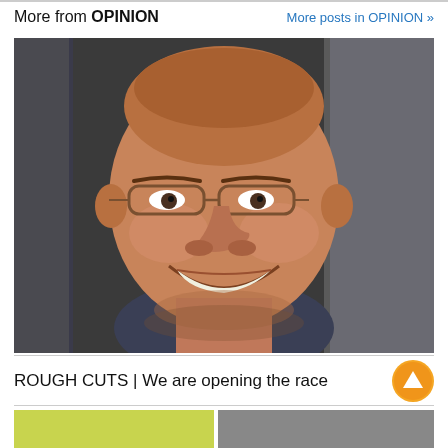More from OPINION
More posts in OPINION »
[Figure (photo): Close-up photo of a smiling middle-aged man wearing glasses and a dark blue shirt, with a darkened background]
ROUGH CUTS | We are opening the race